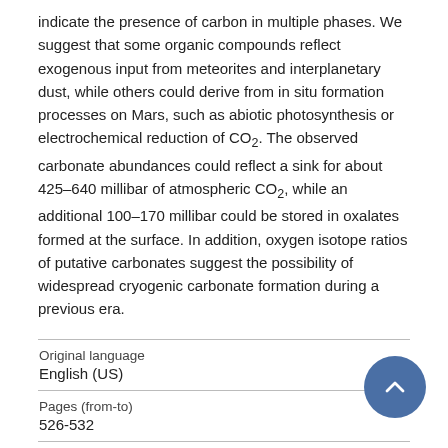indicate the presence of carbon in multiple phases. We suggest that some organic compounds reflect exogenous input from meteorites and interplanetary dust, while others could derive from in situ formation processes on Mars, such as abiotic photosynthesis or electrochemical reduction of CO₂. The observed carbonate abundances could reflect a sink for about 425–640 millibar of atmospheric CO₂, while an additional 100–170 millibar could be stored in oxalates formed at the surface. In addition, oxygen isotope ratios of putative carbonates suggest the possibility of widespread cryogenic carbonate formation during a previous era.
| Field | Value |
| --- | --- |
| Original language | English (US) |
| Pages (from-to) | 526-532 |
| Number of pages | 7 |
| Journal |  |